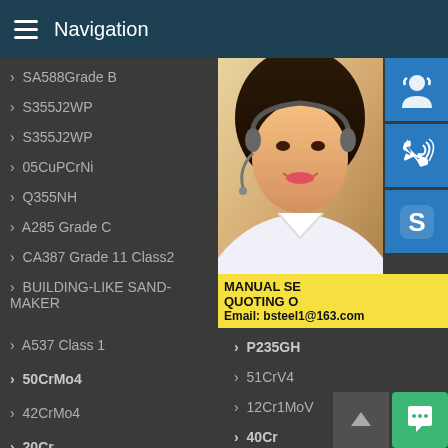Navigation
SA588Grade B
S355J2WP
S355J2WP
05CuPCrNi
Q355NH
A285 Grade C
CA387 Grade 11 Class2
BUILDING-LIKE SAND-MAKER
A537 Class 1
50CrMo4
42CrMo4
20Cr
S355J
S355J
09CuP
Q355G
A204
A387 G
A387 G
A387
A516 Grade 70
P235GH
51CrV4
12Cr1MoV
40Cr
[Figure (photo): Customer service representative woman with headset smiling, with contact info overlay showing MANUAL SERVICE, QUOTING O, Email: bsteel1@163.com and blue icon buttons for support, phone, Skype]
MANUAL SE... QUOTING O... Email: bsteel1@163.com